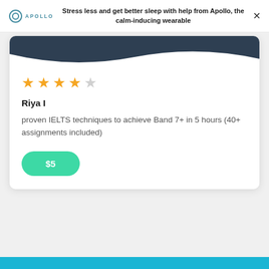Stress less and get better sleep with help from Apollo, the calm-inducing wearable
[Figure (screenshot): Apollo logo with circular icon and APOLLO text in teal]
★★★★☆
Riya I
proven IELTS techniques to achieve Band 7+ in 5 hours (40+ assignments included)
$5